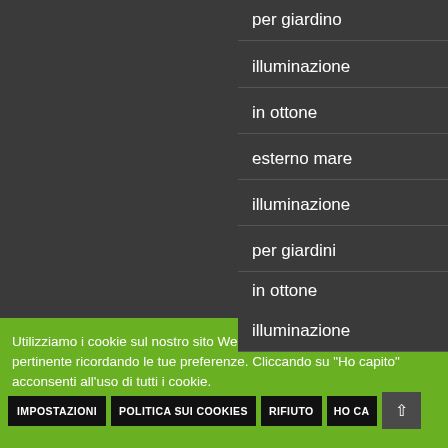per giardino
illuminazione
in ottone
esterno mare
illuminazione
per giardini
in ottone
illuminazione
Utilizziamo i cookie sul nostro sito Web per offrirti l'esperienza più pertinente ricordando le tue preferenze. Cliccando su "Ho capito" acconsenti all'uso di tutti i cookie.
IMPOSTAZIONI | POLITICA SUI COOKIES | RIFIUTO | HO CAPITO